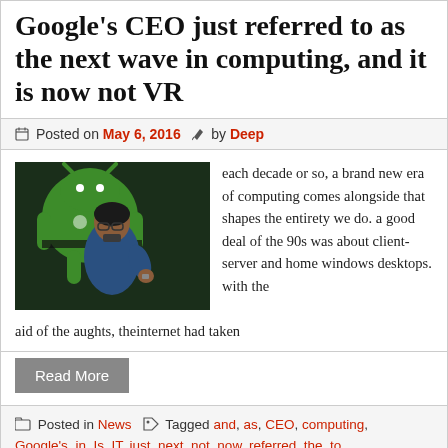Google's CEO just referred to as the next wave in computing, and it is now not VR
Posted on May 6, 2016  by Deep
[Figure (photo): Photo of a man speaking on stage in front of a large green Android robot logo]
each decade or so, a brand new era of computing comes alongside that shapes the entirety we do. a good deal of the 90s was about client-server and home windows desktops. with the aid of the aughts, theinternet had taken
Read More
Posted in News   Tagged and, as, CEO, computing, Google's, in, Is, IT, just, next, not, now, referred, the, to,